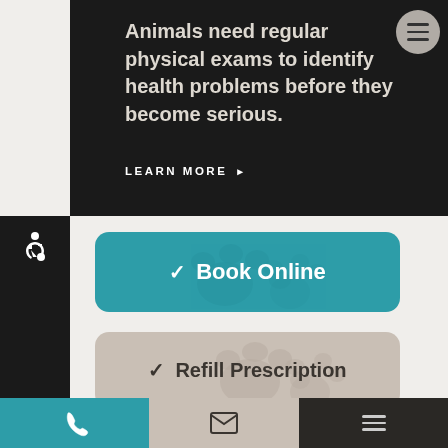Animals need regular physical exams to identify health problems before they become serious.
LEARN MORE ▶
[Figure (screenshot): Hamburger menu button (three horizontal lines) in circular grey button, top right]
[Figure (illustration): Wheelchair accessibility icon in white on dark sidebar]
✓ Book Online
✓ Refill Prescription
[Figure (infographic): Bottom navigation bar with phone icon (teal), email icon (tan/grey), and hamburger menu (dark)]